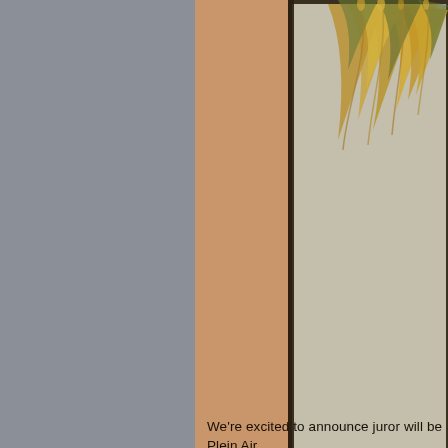[Figure (photo): A painting showing golden/yellow dried grasses or wheat against a neutral gray-beige background, cropped with only the upper right portion visible. The painting appears to be signed with a cursive signature in the lower center area.]
ROY SMITH - "W... 10X8...
We're excited to announce juror will be Plein Air ...